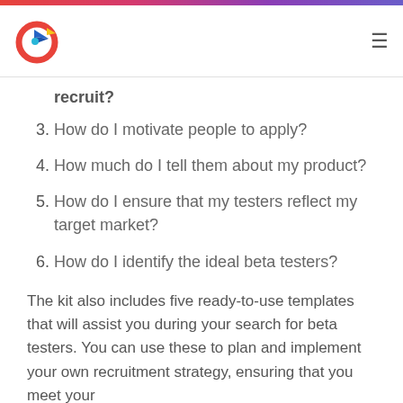[Logo and navigation header]
recruit?
3. How do I motivate people to apply?
4. How much do I tell them about my product?
5. How do I ensure that my testers reflect my target market?
6. How do I identify the ideal beta testers?
The kit also includes five ready-to-use templates that will assist you during your search for beta testers. You can use these to plan and implement your own recruitment strategy, ensuring that you meet your